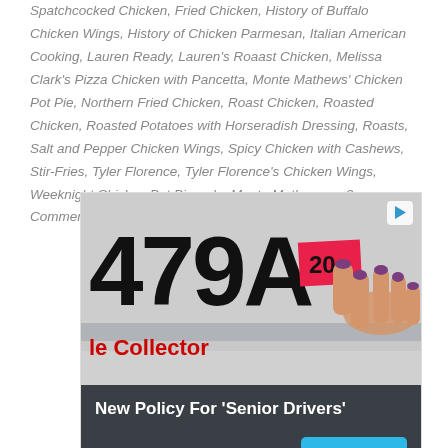Spatchcocked Chicken, Fried Chicken, History of Buffalo Chicken Wings, History of Chicken Parmesan, Italian American Cooking, Lauren Ready, Lauren's Roaast Chicken, Melissa Clark's Pizza Chicken with Pancetta, Monte Mathews' Chicken Pot Pie, Northern Fried Chicken, Roast Chicken, Roasted Chicken, Roasted Potatoes with Horseradish Dressing, Roasts, Salt and Pepper Chicken Wings, Spicy Chicken with Cashews, Stir-Fries, Tyler Florence, Tyler Florence's Chicken Wings, Weeknight Chicken Pot Pie  -  by Monte Mathews  -  2 Comments
[Figure (photo): Advertisement image showing a license plate reading '479A' with text 'le Collector' in red and a person's hand with painted nails pressing on a pink sticker showing '20'. Play button icon in top right corner.]
New Policy For 'Senior Drivers'
Ad  My Insurance Savings
Learn More